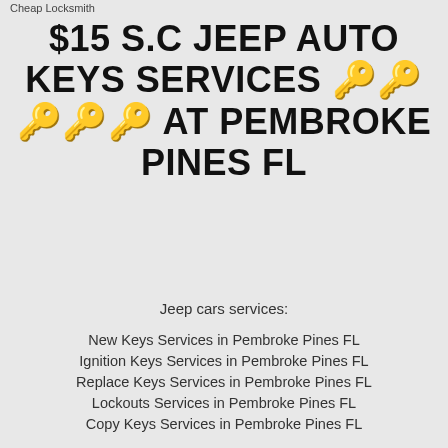Cheap Locksmith
$15 S.C JEEP AUTO KEYS SERVICES 🔑🔑🔑🔑🔑 AT PEMBROKE PINES FL
Jeep cars services:
New Keys Services in Pembroke Pines FL
Ignition Keys Services in Pembroke Pines FL
Replace Keys Services in Pembroke Pines FL
Lockouts Services in Pembroke Pines FL
Copy Keys Services in Pembroke Pines FL
And More..
CALL 24 HOUR (305) 676-0331
Models: